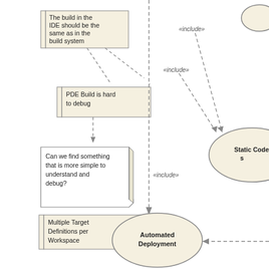[Figure (flowchart): UML diagram fragment showing note boxes and use case ovals. Note boxes on the left: 'The build in the IDE should be the same as in the build system', 'PDE Build is hard to debug', 'Can we find something that is more simple to understand and debug?', 'Multiple Target Definitions per Workspace'. Dashed arrows connect these notes downward and to a central dashed vertical line. The central dashed line has an «include» label and leads to an 'Automated Deployment' oval at the bottom center. On the right side, «include» labels lead to a 'Static Code Analysis' oval (partially visible). A dashed arrow from the right enters the 'Automated Deployment' oval.]